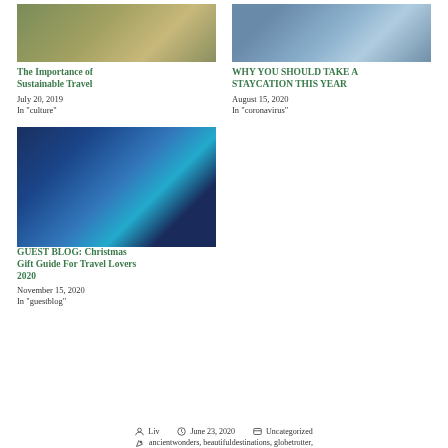[Figure (photo): Person working in grassy field, sustainable travel image]
The Importance of Sustainable Travel
July 20, 2019
In "culture"
[Figure (photo): Countryside landscape with sign, staycation image]
WHY YOU SHOULD TAKE A STAYCATION THIS YEAR
August 15, 2020
In "coronavirus"
[Figure (photo): Illuminated cathedral at night, Christmas gift guide image]
GUEST BLOG: Christmas Gift Guide For Travel Lovers 2020
November 15, 2020
In "guestblog"
Liv   June 23, 2020   Uncategorized   ancientwonders, beautifuldestinations, globetrotter,